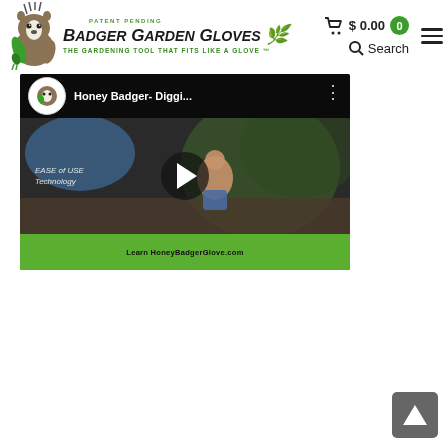Badger Garden Gloves — Patent Pending — The Gardening Tool That Fits Like A Glove ™ — $ 0.00 — Search
[Figure (screenshot): YouTube video thumbnail for 'Honey Badger- Diggi...' showing a garden scene with a person gardening and a green bottom banner with website URL. Play button is visible in center.]